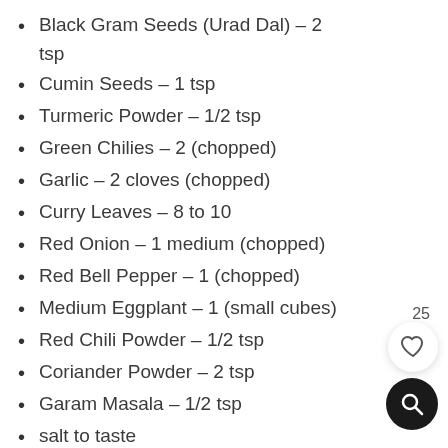Black Gram Seeds (Urad Dal) – 2 tsp
Cumin Seeds – 1 tsp
Turmeric Powder – 1/2 tsp
Green Chilies – 2 (chopped)
Garlic – 2 cloves (chopped)
Curry Leaves – 8 to 10
Red Onion – 1 medium (chopped)
Red Bell Pepper – 1 (chopped)
Medium Eggplant – 1 (small cubes)
Red Chili Powder – 1/2 tsp
Coriander Powder – 2 tsp
Garam Masala – 1/2 tsp
salt to taste